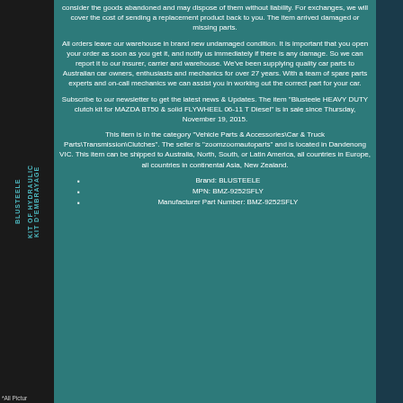consider the goods abandoned and may dispose of them without liability. For exchanges, we will cover the cost of sending a replacement product back to you. The item arrived damaged or missing parts.
All orders leave our warehouse in brand new undamaged condition. It is important that you open your order as soon as you get it, and notify us immediately if there is any damage. So we can report it to our insurer, carrier and warehouse. We've been supplying quality car parts to Australian car owners, enthusiasts and mechanics for over 27 years. With a team of spare parts experts and on-call mechanics we can assist you in working out the correct part for your car.
Subscribe to our newsletter to get the latest news & Updates. The item "Blusteele HEAVY DUTY clutch kit for MAZDA BT50 & solid FLYWHEEL 06-11 T Diesel" is in sale since Thursday, November 19, 2015.
This item is in the category "Vehicle Parts & Accessories\Car & Truck Parts\Transmission\Clutches". The seller is "zoomzoomautoparts" and is located in Dandenong VIC. This item can be shipped to Australia, North, South, or Latin America, all countries in Europe, all countries in continental Asia, New Zealand.
Brand: BLUSTEELE
MPN: BMZ-9252SFLY
Manufacturer Part Number: BMZ-9252SFLY
*All Pictur